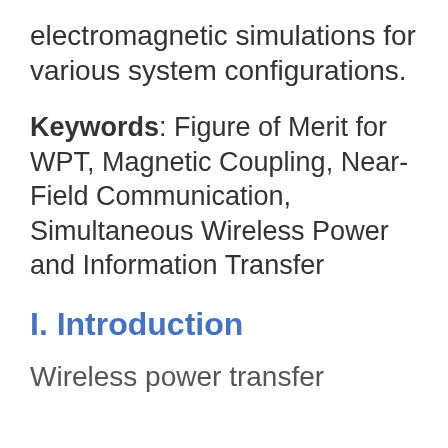electromagnetic simulations for various system configurations.
Keywords: Figure of Merit for WPT, Magnetic Coupling, Near-Field Communication, Simultaneous Wireless Power and Information Transfer
I. Introduction
Wireless power transfer